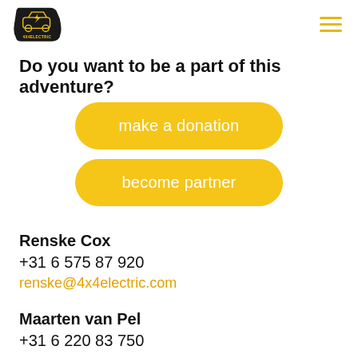[Figure (logo): 4x4Electric logo — black shield shape with yellow electric car icon and yellow text '4X4ELECTRIC']
Do you want to be a part of this adventure?
make a donation
become partner
Renske Cox
+31 6 575 87 920
renske@4x4electric.com
Maarten van Pel
+31 6 220 83 750